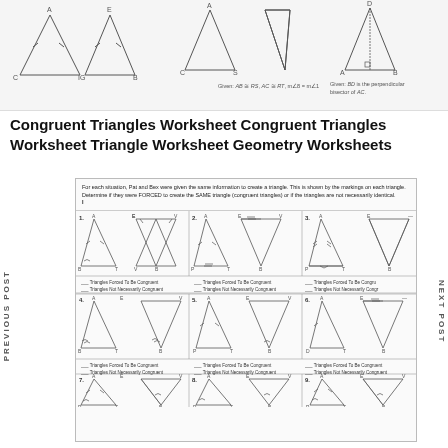[Figure (illustration): Top strip showing triangle diagrams with geometric markings and given conditions for congruence proofs]
Congruent Triangles Worksheet Congruent Triangles Worksheet Triangle Worksheet Geometry Worksheets
PREVIOUS POST
NEXT POST
[Figure (illustration): Congruent triangles worksheet showing 9 problems. Each problem has two triangles (Pat and Bex) with congruence markings. Students determine if triangles are FORCED to be congruent (SAME triangle) or not necessarily identical. Problems 1-9 show various triangle configurations with tick marks and angle marks. Answer blanks: Triangles Forced To Be Congruent / Triangles Not Necessarily Congruent.]
For each situation, Pat and Bex were given the same information to create a triangle. This is shown by the markings on each triangle. Determine if they were FORCED to create the SAME triangle (congruent triangles) or if the triangles are not necessarily identical.